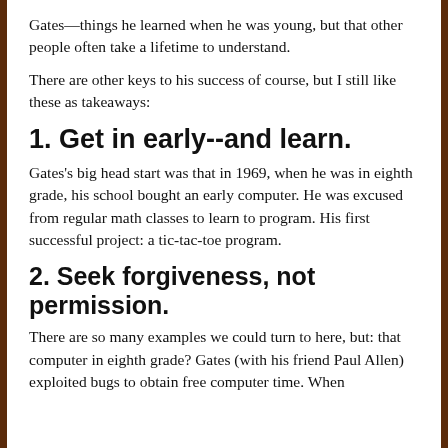Gates—things he learned when he was young, but that other people often take a lifetime to understand.
There are other keys to his success of course, but I still like these as takeaways:
1. Get in early--and learn.
Gates's big head start was that in 1969, when he was in eighth grade, his school bought an early computer. He was excused from regular math classes to learn to program. His first successful project: a tic-tac-toe program.
2. Seek forgiveness, not permission.
There are so many examples we could turn to here, but: that computer in eighth grade? Gates (with his friend Paul Allen) exploited bugs to obtain free computer time. When